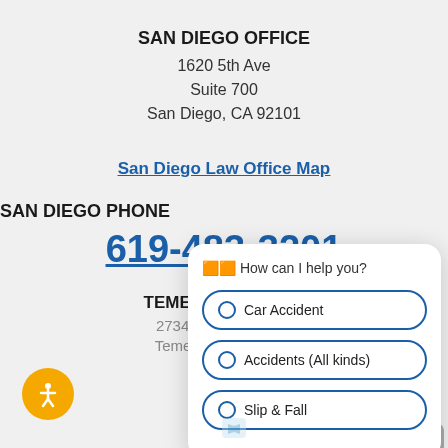SAN DIEGO OFFICE
1620 5th Ave
Suite 700
San Diego, CA 92101
San Diego Law Office Map
SAN DIEGO PHONE
619-483-3201
TEMECULA OFFICE
27349 Jefferson Ave
Temecula, CA 92590
[Figure (screenshot): Chatbot popup overlay with header '🟧🟧 How can I help you?' and three radio button options: 'Car Accident', 'Accidents (All kinds)', 'Slip & Fall'. Top-right corner has two icon buttons (external link and close). Bottom-left has an accessibility icon button (orange circle with person).]